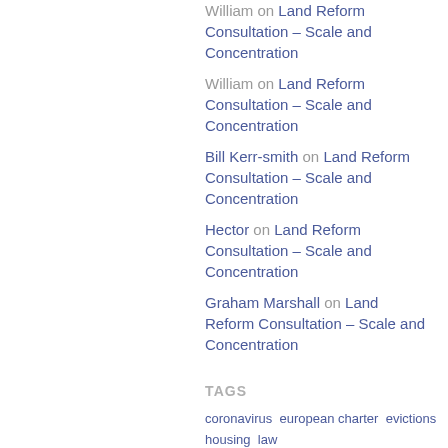William on Land Reform Consultation – Scale and Concentration
William on Land Reform Consultation – Scale and Concentration
Bill Kerr-smith on Land Reform Consultation – Scale and Concentration
Hector on Land Reform Consultation – Scale and Concentration
Graham Marshall on Land Reform Consultation – Scale and Concentration
TAGS
coronavirus european charter evictions housing law legislation local government members bill parliament private rented sector
META
Log in